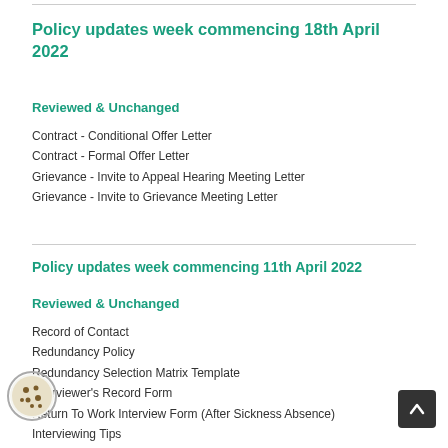Policy updates week commencing 18th April 2022
Reviewed & Unchanged
Contract - Conditional Offer Letter
Contract - Formal Offer Letter
Grievance - Invite to Appeal Hearing Meeting Letter
Grievance - Invite to Grievance Meeting Letter
Policy updates week commencing 11th April 2022
Reviewed & Unchanged
Record of Contact
Redundancy Policy
Redundancy Selection Matrix Template
Interviewer's Record Form
Return To Work Interview Form (After Sickness Absence)
Interviewing Tips